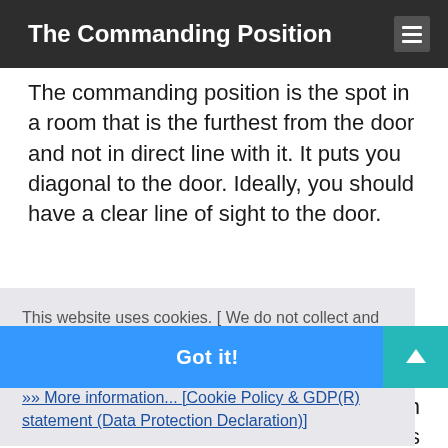The Commanding Position
The commanding position is the spot in a room that is the furthest from the door and not in direct line with it. It puts you diagonal to the door. Ideally, you should have a clear line of sight to the door.
This website uses cookies. [ We do not collect and do not store any personal information on the server! ]
»» More information... [Cookie Policy & GDP(R) statement (Data Protection Declaration)]
Got it!
of your house are critical since each